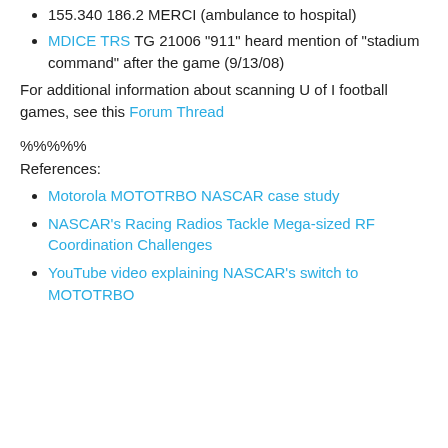155.340 186.2 MERCI (ambulance to hospital)
MDICE TRS TG 21006 "911" heard mention of "stadium command" after the game (9/13/08)
For additional information about scanning U of I football games, see this Forum Thread
%%%%%
References:
Motorola MOTOTRBO NASCAR case study
NASCAR's Racing Radios Tackle Mega-sized RF Coordination Challenges
YouTube video explaining NASCAR's switch to MOTOTRBO